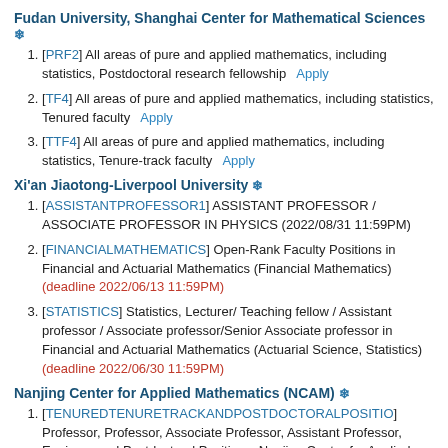Fudan University, Shanghai Center for Mathematical Sciences ❄
[PRF2] All areas of pure and applied mathematics, including statistics, Postdoctoral research fellowship   Apply
[TF4] All areas of pure and applied mathematics, including statistics, Tenured faculty   Apply
[TTF4] All areas of pure and applied mathematics, including statistics, Tenure-track faculty   Apply
Xi'an Jiaotong-Liverpool University ❄
[ASSISTANTPROFESSOR1] ASSISTANT PROFESSOR / ASSOCIATE PROFESSOR IN PHYSICS (2022/08/31 11:59PM)
[FINANCIALMATHEMATICS] Open-Rank Faculty Positions in Financial and Actuarial Mathematics (Financial Mathematics) (deadline 2022/06/13 11:59PM)
[STATISTICS] Statistics, Lecturer/ Teaching fellow / Assistant professor / Associate professor/Senior Associate professor in Financial and Actuarial Mathematics (Actuarial Science, Statistics) (deadline 2022/06/30 11:59PM)
Nanjing Center for Applied Mathematics (NCAM) ❄
[TENUREDTENURETRACKANDPOSTDOCTORALPOSITIO] Professor, Professor, Associate Professor, Assistant Professor, Engineer and Postdoctoral Positions, Nanjing Center for Applied Mathematics（NCAM）   Apply